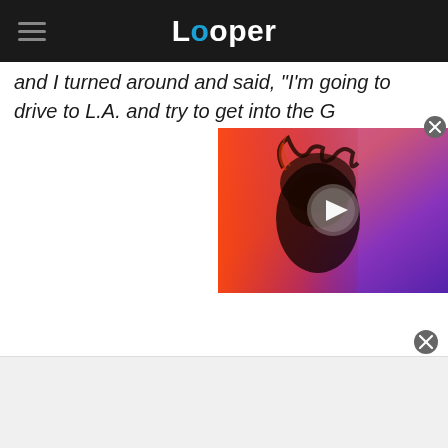Looper
and I turned around and said, "I'm going to drive to L.A. and try to get into the G
[Figure (screenshot): Video thumbnail showing a person with wild hair in red/purple lighting with a play button overlay]
[Figure (other): Advertisement area at the bottom of the page]